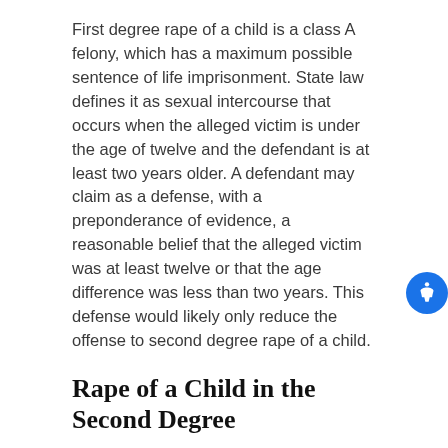First degree rape of a child is a class A felony, which has a maximum possible sentence of life imprisonment. State law defines it as sexual intercourse that occurs when the alleged victim is under the age of twelve and the defendant is at least two years older. A defendant may claim as a defense, with a preponderance of evidence, a reasonable belief that the alleged victim was at least twelve or that the age difference was less than two years. This defense would likely only reduce the offense to second degree rape of a child.
Rape of a Child in the Second Degree
If the alleged victim is twelve or thirteen years old, and the defendant is at least three years older, it is classified as second degree rape of a child. This is